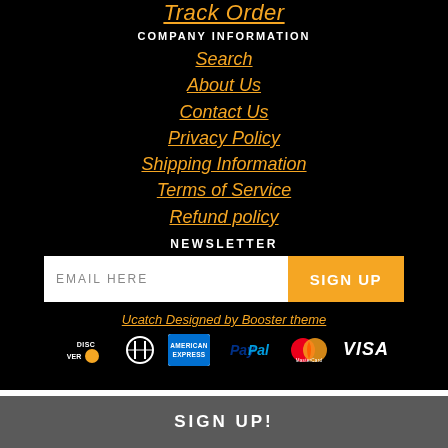Track Order
COMPANY INFORMATION
Search
About Us
Contact Us
Privacy Policy
Shipping Information
Terms of Service
Refund policy
NEWSLETTER
EMAIL HERE  SIGN UP
Ucatch Designed by Booster theme
[Figure (logo): Payment method logos: Discover, Diners Club, American Express, PayPal, MasterCard, Visa]
SIGN UP!